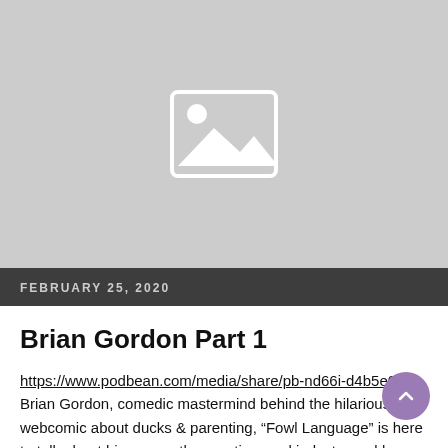[Figure (photo): Gray image placeholder with a white mountain/landscape icon in the center]
FEBRUARY 25, 2020
Brian Gordon Part 1
https://www.podbean.com/media/share/pb-nd66i-d4b5e0 Brian Gordon, comedic mastermind behind the hilarious webcomic about ducks & parenting, “Fowl Language” is here to talk about his career, the greeting card industry and how great cartooning